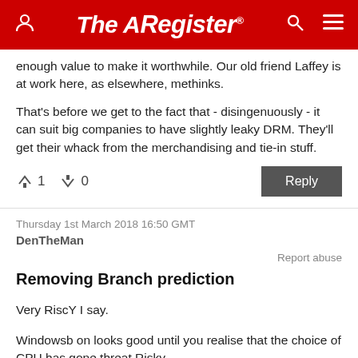The Register
enough value to make it worthwhile. Our old friend Laffey is at work here, as elsewhere, methinks.

That's before we get to the fact that - disingenuously - it can suit big companies to have slightly leaky DRM. They'll get their whack from the merchandising and tie-in stuff.
↑1  ↓0   Reply
Thursday 1st March 2018 16:50 GMT
DenTheMan
Report abuse
Removing Branch prediction
Very RiscY I say.

Windowsb on looks good until you realise that the choice of CPU has gone threat Risky.